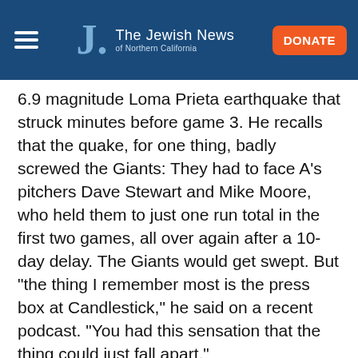The Jewish News of Northern California
6.9 magnitude Loma Prieta earthquake that struck minutes before game 3. He recalls that the quake, for one thing, badly screwed the Giants: They had to face A’s pitchers Dave Stewart and Mike Moore, who held them to just one run total in the first two games, all over again after a 10-day delay. The Giants would get swept. But “the thing I remember most is the press box at Candlestick,” he said on a recent podcast. “You had this sensation that the thing could just fall apart.”
“There are the little moments,” too, he told J., reflecting on his career. “J.T. Snow hitting a home run for his mom the first day he comes back after